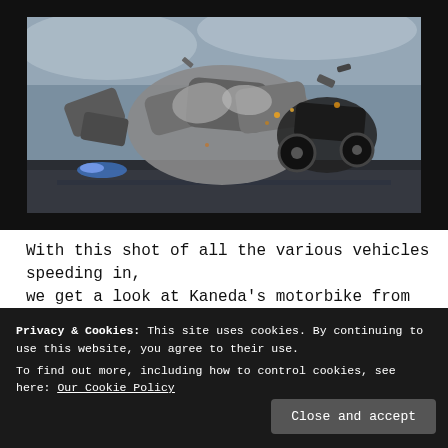[Figure (screenshot): A screenshot from an animated film (Akira) showing futuristic vehicles crashing and speeding, with mechanical debris and a motorbike visible against a dark background.]
With this shot of all the various vehicles speeding in, we get a look at Kaneda's motorbike from Akira, as
Privacy & Cookies: This site uses cookies. By continuing to use this website, you agree to their use.
To find out more, including how to control cookies, see here: Our Cookie Policy
Close and accept